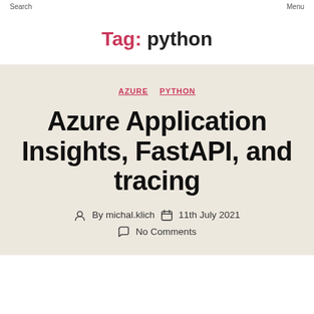Search  Menu
Tag: python
AZURE  PYTHON
Azure Application Insights, FastAPI, and tracing
By michal.klich  11th July 2021  No Comments